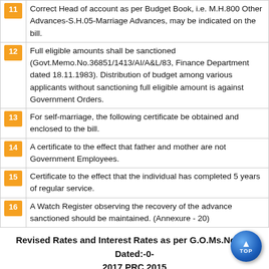11 Correct Head of account as per Budget Book, i.e. M.H.800 Other Advances-S.H.05-Marriage Advances, may be indicated on the bill.
12 Full eligible amounts shall be sanctioned (Govt.Memo.No.36851/1413/AI/A&L/83, Finance Department dated 18.11.1983). Distribution of budget among various applicants without sanctioning full eligible amount is against Government Orders.
13 For self-marriage, the following certificate be obtained and enclosed to the bill.
14 A certificate to the effect that father and mother are not Government Employees.
15 Certificate to the effect that the individual has completed 5 years of regular service.
16 A Watch Register observing the recovery of the advance sanctioned should be maintained. (Annexure - 20)
Revised Rates and Interest Rates as per G.O.Ms.No.167 Dated:-0-2017 PRC 2015